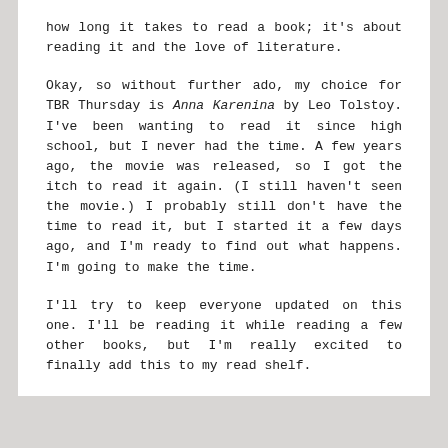how long it takes to read a book; it's about reading it and the love of literature.
Okay, so without further ado, my choice for TBR Thursday is Anna Karenina by Leo Tolstoy. I've been wanting to read it since high school, but I never had the time. A few years ago, the movie was released, so I got the itch to read it again. (I still haven't seen the movie.) I probably still don't have the time to read it, but I started it a few days ago, and I'm ready to find out what happens. I'm going to make the time.
I'll try to keep everyone updated on this one. I'll be reading it while reading a few other books, but I'm really excited to finally add this to my read shelf.